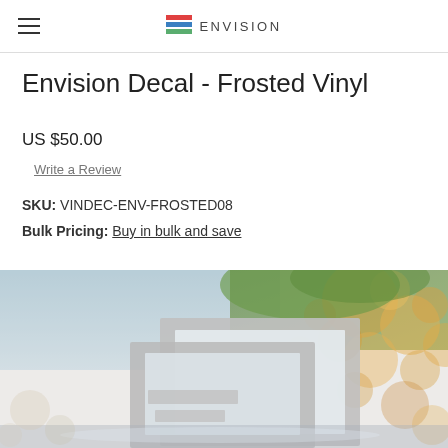ENVISION
Envision Decal - Frosted Vinyl
US $50.00
Write a Review
SKU: VINDEC-ENV-FROSTED08
Bulk Pricing: Buy in bulk and save
[Figure (photo): Product photo showing frosted vinyl decals on glass surfaces with blurred bokeh background in warm tones]